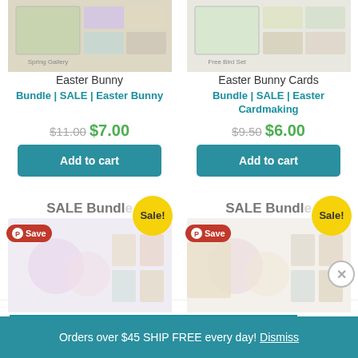[Figure (photo): Easter Bunny scrapbook paper bundle product image]
[Figure (photo): Easter Bunny Cards scrapbook paper bundle product image]
Easter Bunny
Easter Bunny Cards
Bundle | SALE | Easter Bunny
Bundle | SALE | Easter Cardmaking
$11.00 $7.00
$9.50 $6.00
Add to cart
Add to cart
[Figure (photo): SALE Bundle product image with Sale! badge and Save overlay]
[Figure (photo): SALE Bundle product image with Sale! badge and Save overlay]
Advertisements
Orders over $45 SHIP FREE every day! Dismiss